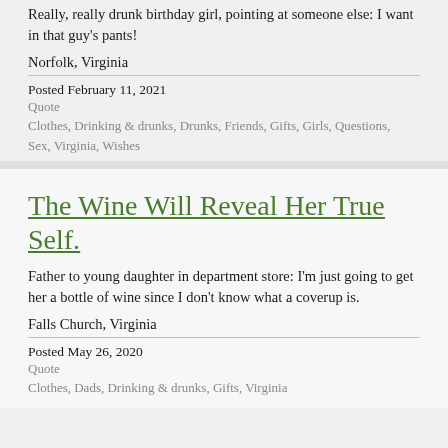Really, really drunk birthday girl, pointing at someone else: I want in that guy's pants!
Norfolk, Virginia
Posted February 11, 2021
Quote
Clothes, Drinking & drunks, Drunks, Friends, Gifts, Girls, Questions, Sex, Virginia, Wishes
The Wine Will Reveal Her True Self.
Father to young daughter in department store: I'm just going to get her a bottle of wine since I don't know what a coverup is.
Falls Church, Virginia
Posted May 26, 2020
Quote
Clothes, Dads, Drinking & drunks, Gifts, Virginia